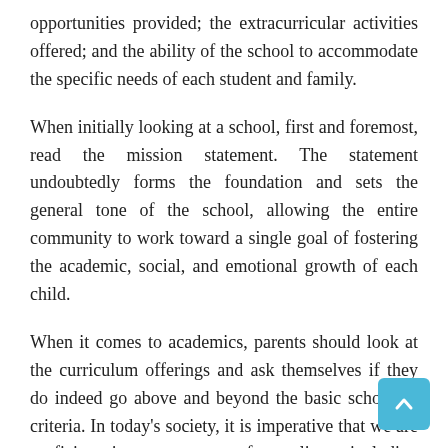opportunities provided; the extracurricular activities offered; and the ability of the school to accommodate the specific needs of each student and family.
When initially looking at a school, first and foremost, read the mission statement. The statement undoubtedly forms the foundation and sets the general tone of the school, allowing the entire community to work toward a single goal of fostering the academic, social, and emotional growth of each child.
When it comes to academics, parents should look at the curriculum offerings and ask themselves if they do indeed go above and beyond the basic schooling criteria. In today's society, it is imperative that we are proficient in many areas of our lives, including language fluency and technology skills. Early childhood is an opportune time to introduce children to another language with some schools starting as early as Kindergarten and continuing through the upper schools with advanced language studies.
In addition, it is significant that the school is structured to develop...